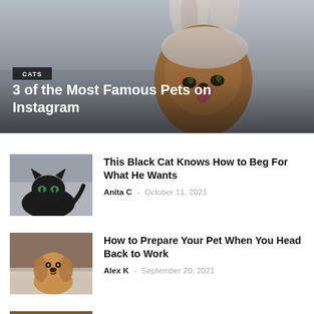[Figure (photo): Hero image of a Pomeranian dog wearing a bunny ear hat, overlaid with dark gradient. Badge reading CATS and title text overlay.]
3 of the Most Famous Pets on Instagram
[Figure (photo): Thumbnail of a black cat lying down looking at camera]
This Black Cat Knows How to Beg For What He Wants
Anita C - October 11, 2021
[Figure (photo): Thumbnail of a golden retriever puppy sitting on a bed]
How to Prepare Your Pet When You Head Back to Work
Alex K - September 20, 2021
[Figure (photo): Thumbnail of a cat, partially visible at bottom of page]
Here Are Some of the Most Hilariously